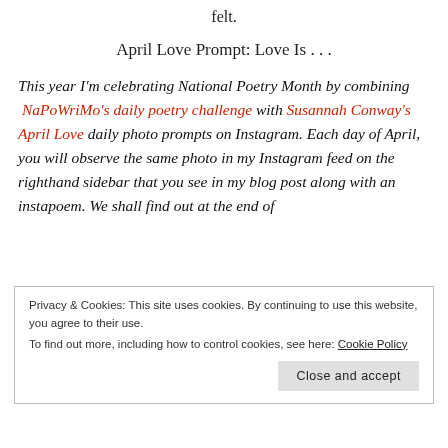felt.
April Love Prompt: Love Is . . .
This year I'm celebrating National Poetry Month by combining NaPoWriMo's daily poetry challenge with Susannah Conway's April Love daily photo prompts on Instagram. Each day of April, you will observe the same photo in my Instagram feed on the righthand sidebar that you see in my blog post along with an instapoem. We shall find out at the end of
Privacy & Cookies: This site uses cookies. By continuing to use this website, you agree to their use.
To find out more, including how to control cookies, see here: Cookie Policy
Close and accept